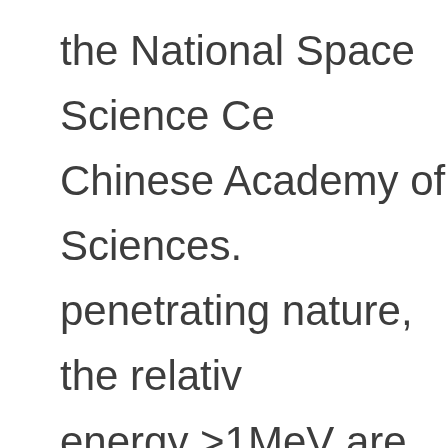the National Space Science Ce Chinese Academy of Sciences. penetrating nature, the relativ energy >1MeV are believed to environment hazard. While re fluxes enhance remarkably, th spacecraft malfunctions and fa increased.